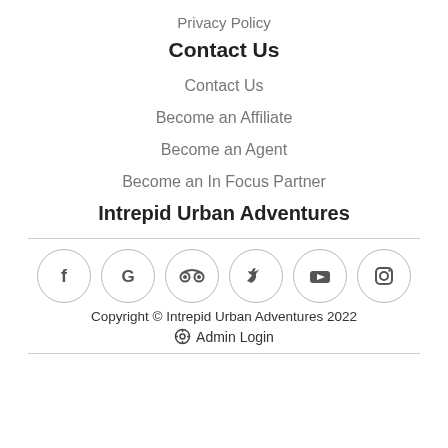Privacy Policy
Contact Us
Contact Us
Become an Affiliate
Become an Agent
Become an In Focus Partner
Intrepid Urban Adventures
[Figure (other): Row of social media icons: Facebook, Google, TripAdvisor, Twitter, YouTube, Instagram — each in a circular outline]
Copyright © Intrepid Urban Adventures 2022
⚙ Admin Login